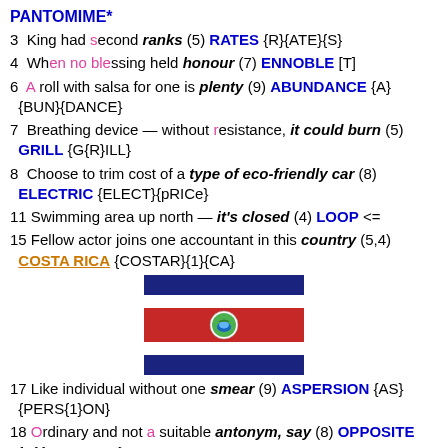PANTOMIME*
3  King had second ranks (5) RATES {R}{ATE}{S}
4  When no blessing held honour (7) ENNOBLE [T]
6  A roll with salsa for one is plenty (9) ABUNDANCE {A}{BUN}{DANCE}
7  Breathing device — without resistance, it could burn (5) GRILL {G{R}ILL}
8  Choose to trim cost of a type of eco-friendly car (8) ELECTRIC {ELECT}{pRICe}
11 Swimming area up north — it's closed (4) LOOP <=
15 Fellow actor joins one accountant in this country (5,4) COSTA RICA {COSTAR}{1}{CA}
[Figure (illustration): Flag of Costa Rica: blue stripe on top, white stripe, red stripe in center with circular emblem, white stripe, blue stripe on bottom]
17 Like individual without one smear (9) ASPERSION {AS}{PERS{1}ON}
18 Ordinary and not a suitable antonym, say (8) OPPOSITE {O}{aPPOSITE}
20 Appreciates lodgings (4) DIGS [DD]